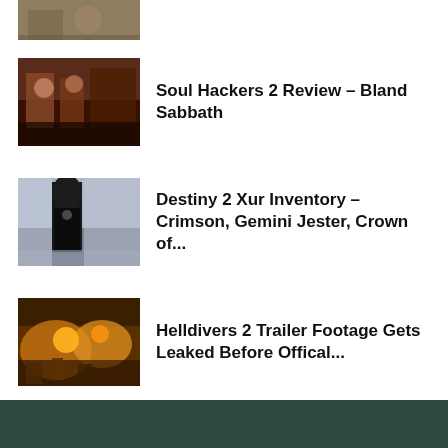[Figure (photo): Partially visible thumbnail image at the top, showing a warm-toned indoor scene]
[Figure (photo): Thumbnail image of people sitting around a table indoors with warm lighting]
Soul Hackers 2 Review – Bland Sabbath
[Figure (photo): Thumbnail image of a dark figure standing against a blueish outdoor background]
Destiny 2 Xur Inventory – Crimson, Gemini Jester, Crown of...
[Figure (photo): Thumbnail image of Helldivers 2 game footage showing explosive orange/yellow battle scene]
Helldivers 2 Trailer Footage Gets Leaked Before Offical...
This website uses cookies to improve your experience. We'll assume you're ok with this, but you can opt-out if you wish.
Cookie settings
ACCEPT